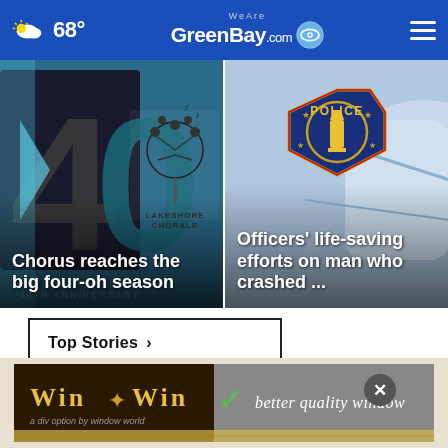68° WeAreGreenBay.com
[Figure (photo): Left news card: Lakeshore Chorale 40th anniversary graphic with large '4' and chorale tree logo. Headline: Chorus reaches the big four-oh season]
Chorus reaches the big four-oh season
[Figure (photo): Right news card: Police badge closeup with blue/silver car background. Headline: Officers' life-saving efforts on man who crashed ...]
Officers' life-saving efforts on man who crashed ...
Top Stories ›
[Figure (other): Win X Win advertisement banner: 'Win X Win — better quality window' with gold and green checkmark branding on dark background. Tagline: a div option by window world]